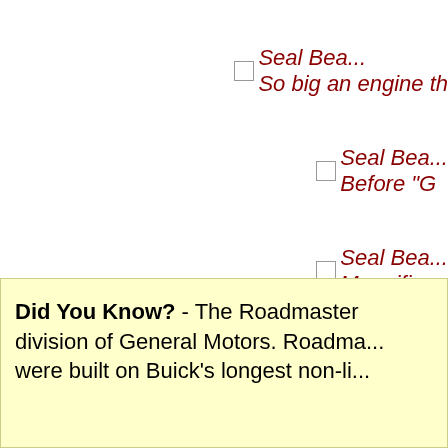[Figure (other): Seal Beach image link with caption 'So big an engine th...' (truncated), partially visible on right side]
[Figure (other): Seal Beach image link with caption 'Before "G...' (truncated), partially visible on right side]
[Figure (other): Seal Beach image link with caption 'Magnifi...' (truncated), partially visible on right side]
[Figure (other): Seal Beach image link with caption 'Buick...' (truncated), partially visible on right side]
Did You Know? - The Roadmaster division of General Motors. Roadma... were built on Buick's longest non-li...